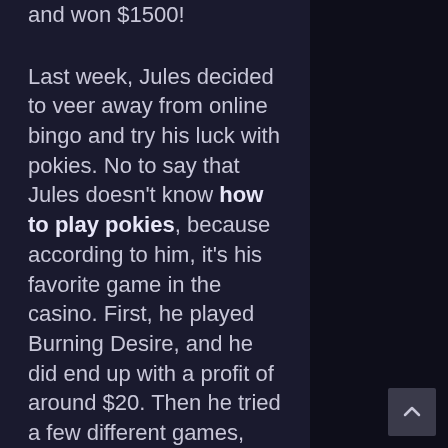and won $1500!
Last week, Jules decided to veer away from online bingo and try his luck with pokies. No to say that Jules doesn't know how to play pokies, because according to him, it's his favorite game in the casino. First, he played Burning Desire, and he did end up with a profit of around $20. Then he tried a few different games, which he didn't win anything on.
On the fourth game, he tried